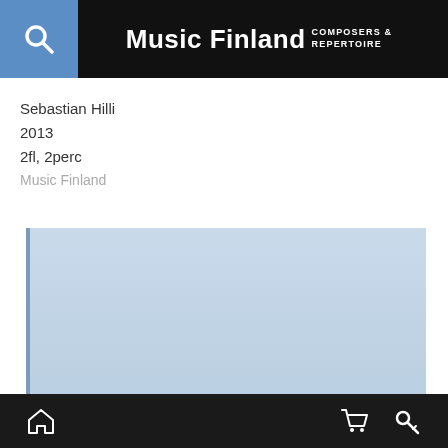Music Finland COMPOSERS & REPERTOIRE
Sebastian Hilli
2013
2fl, 2perc
Music Finland
[Figure (illustration): Light blue score/book image placeholder]
Home | Cart | Search icons